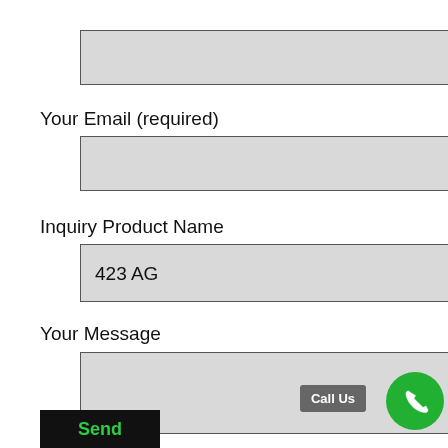[Figure (screenshot): Empty text input field with light gray background and dark border]
Your Email (required)
[Figure (screenshot): Empty email input field with light gray background and dark border]
Inquiry Product Name
[Figure (screenshot): Text input field pre-filled with '423 AG', light gray background and dark border]
Your Message
[Figure (screenshot): Empty message textarea with light gray background and dark border]
Send
Call Us